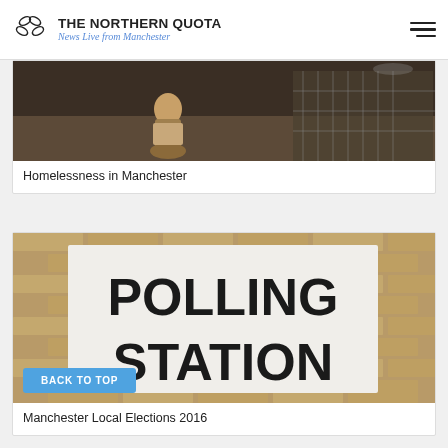THE NORTHERN QUOTA – News Live from Manchester
[Figure (photo): A person sitting on the street, homeless, near a wire fence – representing homelessness in Manchester]
Homelessness in Manchester
[Figure (photo): A large 'POLLING STATION' sign on a brick wall, representing Manchester Local Elections 2016]
BACK TO TOP
Manchester Local Elections 2016